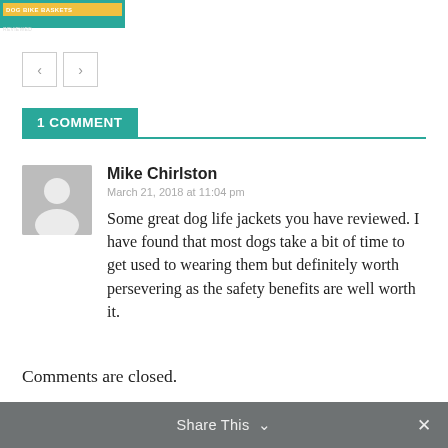[Figure (screenshot): Small banner image with teal background and yellow/text overlay reading DOG BIKE BASKETS REVIEWED]
[Figure (infographic): Navigation previous/next arrow buttons]
1 COMMENT
[Figure (photo): Grey avatar/placeholder user icon for Mike Chirlston]
Mike Chirlston
March 21, 2018 at 11:04 pm
Some great dog life jackets you have reviewed. I have found that most dogs take a bit of time to get used to wearing them but definitely worth persevering as the safety benefits are well worth it.
Comments are closed.
Share This  ∨   ×